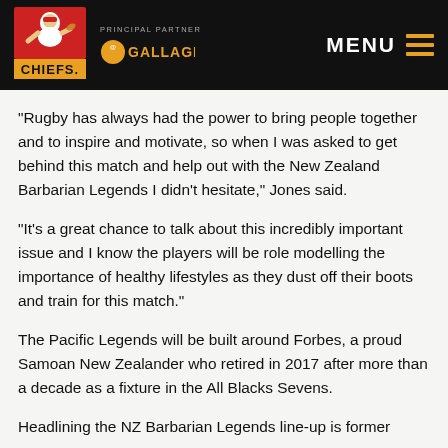CHIEFS — PRINCIPAL PARTNER GALLAGHER — MENU
“Rugby has always had the power to bring people together and to inspire and motivate, so when I was asked to get behind this match and help out with the New Zealand Barbarian Legends I didn’t hesitate,” Jones said.
“It’s a great chance to talk about this incredibly important issue and I know the players will be role modelling the importance of healthy lifestyles as they dust off their boots and train for this match.”
The Pacific Legends will be built around Forbes, a proud Samoan New Zealander who retired in 2017 after more than a decade as a fixture in the All Blacks Sevens.
Headlining the NZ Barbarian Legends line-up is former